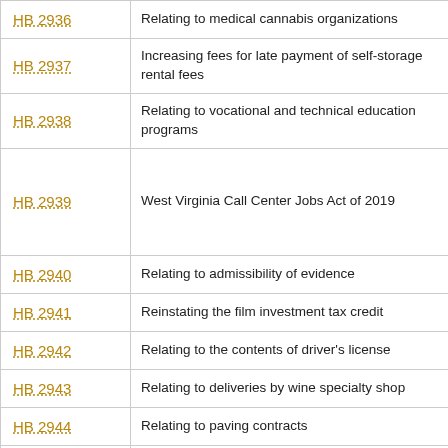| Bill | Description |
| --- | --- |
| HB 2936 | Relating to medical cannabis organizations |
| HB 2937 | Increasing fees for late payment of self-storage rental fees |
| HB 2938 | Relating to vocational and technical education programs |
| HB 2939 | West Virginia Call Center Jobs Act of 2019 |
| HB 2940 | Relating to admissibility of evidence |
| HB 2941 | Reinstating the film investment tax credit |
| HB 2942 | Relating to the contents of driver's license |
| HB 2943 | Relating to deliveries by wine specialty shop |
| HB 2944 | Relating to paving contracts |
| HB 2945 | Relating to vendors paying a single annual fee for a permit issued by a local health department |